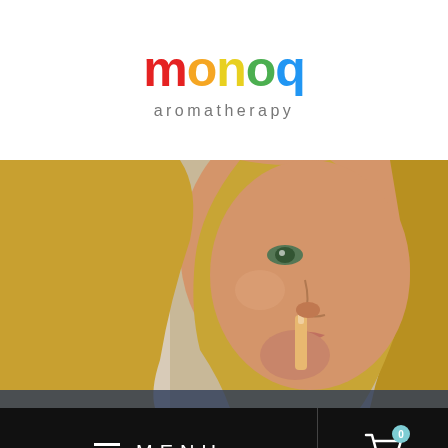[Figure (logo): MONQ aromatherapy logo with rainbow-colored letters and 'aromatherapy' subtitle in gray]
[Figure (photo): Close-up photo of a blonde woman holding a MONQ aromatherapy diffuser pen up to her face, about to inhale]
MENU
[Figure (infographic): Shopping cart icon with badge showing 0 items and accessibility button]